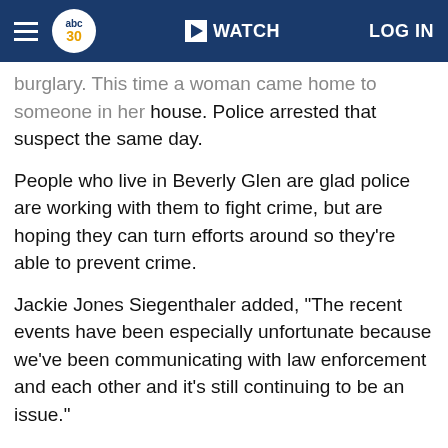abc30 WATCH LOG IN
burglary. This time a woman came home to someone in her house. Police arrested that suspect the same day.
People who live in Beverly Glen are glad police are working with them to fight crime, but are hoping they can turn efforts around so they're able to prevent crime.
Jackie Jones Siegenthaler added, "The recent events have been especially unfortunate because we've been communicating with law enforcement and each other and it's still continuing to be an issue."
Smith said, "It's just things have gotten worse and they can only do so much."
Visalia police say they have increased patrols in the area. Neighbors say they're doing their own patrols too, and